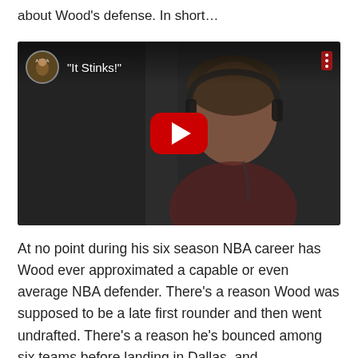about Wood's defense. In short…
[Figure (screenshot): YouTube video thumbnail showing a man wearing headphones, with the video title 'It Stinks!' displayed in the top-left overlay area along with a channel icon labeled 'ANBA'. A red YouTube play button is centered on the image.]
At no point during his six season NBA career has Wood ever approximated a capable or even average NBA defender. There's a reason Wood was supposed to be a late first rounder and then went undrafted. There's a reason he's bounced among six teams before landing in Dallas, and